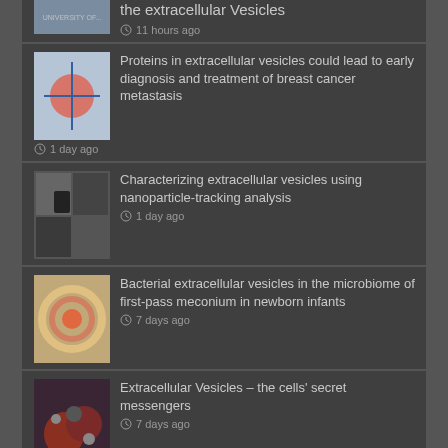the extracellular Vesicles — 11 hours ago
Proteins in extracellular vesicles could lead to early diagnosis and treatment of breast cancer metastasis — 1 day ago
Characterizing extracellular vesicles using nanoparticle-tracking analysis — 1 day ago
Bacterial extracellular vesicles in the microbiome of first-pass meconium in newborn infants — 7 days ago
Extracellular Vesicles – the cells' secret messengers — 7 days ago
SOCIAL NETWORKING PAGES